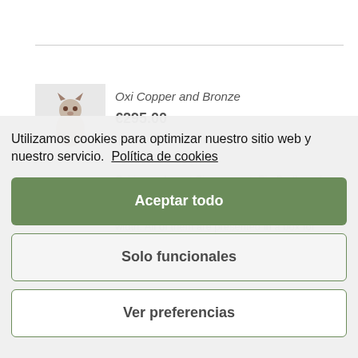[Figure (photo): Siamese cat figurine product image thumbnail on grey background]
Oxi Copper and Bronze
€295.00
Oxi is an elegant Siamese cat. Bio Brother of KAT. It is made of resin, weighs 1 kg. Its measures are 20 cm height, x 11 cm long y 8 cm width. All of them are presented in a box for giving as needs
Utilizamos cookies para optimizar nuestro sitio web y nuestro servicio.  Política de cookies
Aceptar todo
Solo funcionales
Ver preferencias